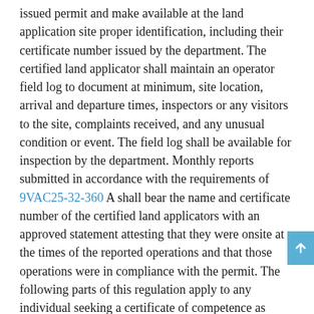issued permit and make available at the land application site proper identification, including their certificate number issued by the department. The certified land applicator shall maintain an operator field log to document at minimum, site location, arrival and departure times, inspectors or any visitors to the site, complaints received, and any unusual condition or event. The field log shall be available for inspection by the department. Monthly reports submitted in accordance with the requirements of 9VAC25-32-360 A shall bear the name and certificate number of the certified land applicators with an approved statement attesting that they were onsite at the times of the reported operations and that those operations were in compliance with the permit. The following parts of this regulation apply to any individual seeking a certificate of competence as required in § 62.1-44.19:3.1 of the Code of Virginia.
B. Certificates of competence shall be issued by the